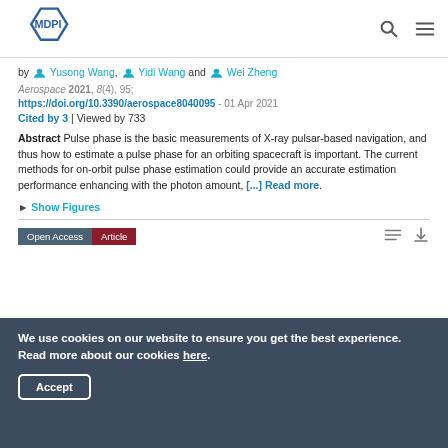MDPI
by Yusong Wang, Yidi Wang and Wei Zheng
Aerospace 2021, 8(4), 95;
https://doi.org/10.3390/aerospace8040095 - 01 Apr 2021
Cited by 3 | Viewed by 733
Abstract Pulse phase is the basic measurements of X-ray pulsar-based navigation, and thus how to estimate a pulse phase for an orbiting spacecraft is important. The current methods for on-orbit pulse phase estimation could provide an accurate estimation performance enhancing with the photon amount, [...] Read more.
► Show Figures
Open Access  Article
We use cookies on our website to ensure you get the best experience. Read more about our cookies here.
Accept